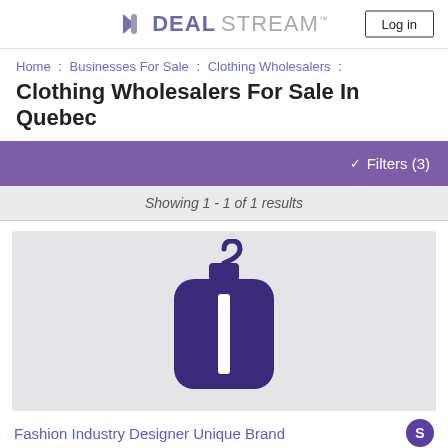DEALSTREAM™  Log in
Home : Businesses For Sale : Clothing Wholesalers :
Clothing Wholesalers For Sale In Quebec
✓ Filters (3)
Showing 1 - 1 of 1 results
[Figure (illustration): Clothing hanger bag icon in dark purple on a light gray background]
Fashion Industry Designer Unique Brand  S